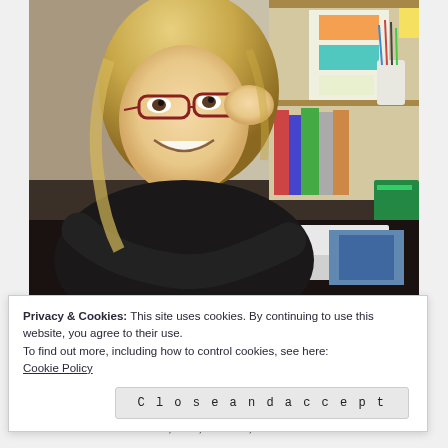[Figure (photo): Woman with blonde hair and red-framed glasses sitting at a desk in a classroom/office, smiling at camera, wearing black sweater, with notebooks, pencils, and bookshelves visible in background]
Privacy & Cookies: This site uses cookies. By continuing to use this website, you agree to their use.
To find out more, including how to control cookies, see here:
Cookie Policy
Close and accept
I am a writer, wife, teacher, and mom whose